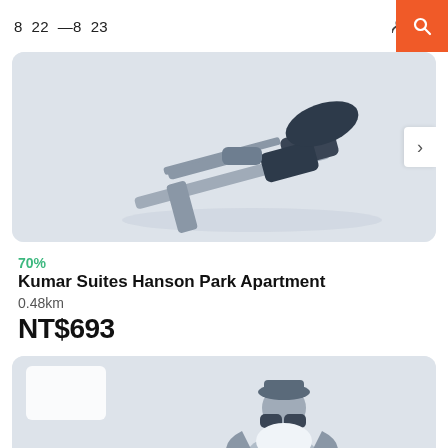8  22  —8  23    👥 2
[Figure (illustration): Illustration of exercise equipment (rowing machine or similar) on a light blue-grey background, shown from above/side angle. Navigation arrow button visible on right edge.]
70%
Kumar Suites Hanson Park Apartment
0.48km
NT$693
[Figure (illustration): Partial illustration of a person looking through binoculars, on a light blue-grey background. A white card placeholder is visible on the left side.]